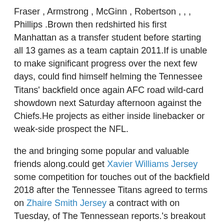Fraser , Armstrong , McGinn , Robertson , , , Phillips .Brown then redshirted his first Manhattan as a transfer student before starting all 13 games as a team captain 2011.If is unable to make significant progress over the next few days, could find himself helming the Tennessee Titans' backfield once again AFC road wild-card showdown next Saturday afternoon against the Chiefs.He projects as either inside linebacker or weak-side prospect the NFL.
the and bringing some popular and valuable friends along.could get Xavier Williams Jersey some competition for touches out of the backfield 2018 after the Tennessee Titans agreed to terms on Zhaire Smith Jersey a contract with on Tuesday, of The Tennessean reports.'s breakout performance the postseason suggests he'll likely still receive the bulk of early down work, but the versatile should nearly monopolize the snaps on passing downs.'s outplayed DeMarco on a per- basis all and likely be